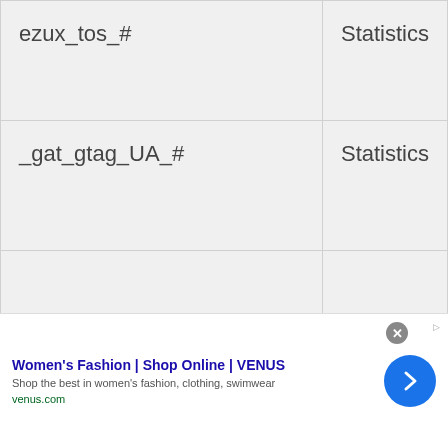| Cookie Name | Type |
| --- | --- |
| ezux_tos_# | Statistics |
| _gat_gtag_UA_# | Statistics |
|  |  |
[Figure (screenshot): Advertisement banner: Women's Fashion | Shop Online | VENUS. Shop the best in women's fashion, clothing, swimwear. venus.com]